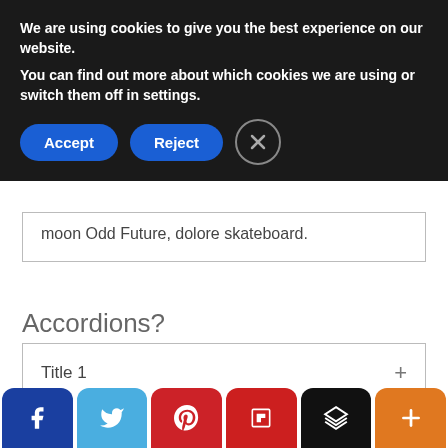We are using cookies to give you the best experience on our website.
You can find out more about which cookies we are using or switch them off in settings.
[Figure (screenshot): Cookie consent banner with Accept and Reject buttons and a close (X) button]
moon Odd Future, dolore skateboard.
Accordions?
Title 1
Title 2
[Figure (screenshot): Social sharing bar with Facebook, Twitter, Pinterest, Flipboard, Layers, and Plus buttons]